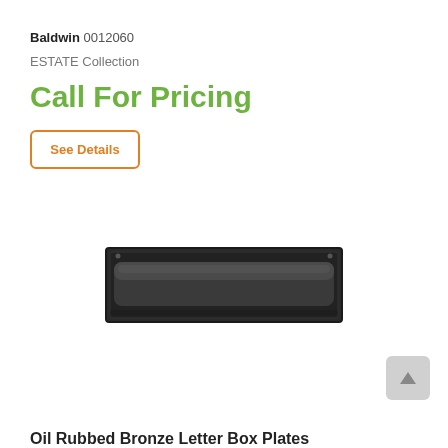Baldwin 0012060
ESTATE Collection
Call For Pricing
See Details
[Figure (photo): Oil Rubbed Bronze letter box plate hardware product photo, dark/black rectangular mail slot plate]
Oil Rubbed Bronze Letter Box Plates